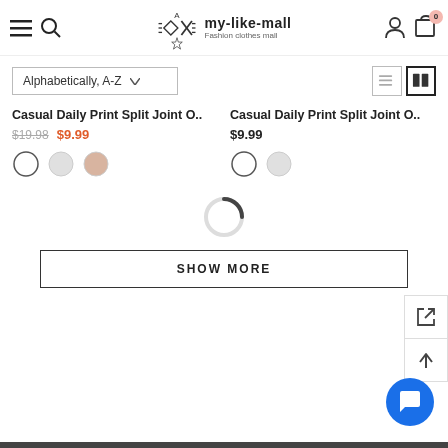my-like-mall Fashion clothes mall
Alphabetically, A-Z
Casual Daily Print Split Joint O.. $19.98 $9.99
Casual Daily Print Split Joint O.. $9.99
[Figure (screenshot): Loading spinner arc]
SHOW MORE